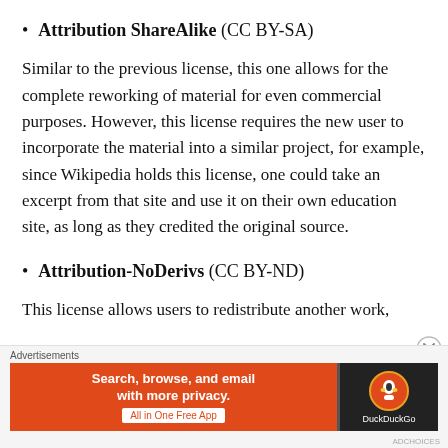Attribution ShareAlike (CC BY-SA)
Similar to the previous license, this one allows for the complete reworking of material for even commercial purposes. However, this license requires the new user to incorporate the material into a similar project, for example, since Wikipedia holds this license, one could take an excerpt from that site and use it on their own education site, as long as they credited the original source.
Attribution-NoDerivs (CC BY-ND)
This license allows users to redistribute another work,
[Figure (infographic): DuckDuckGo advertisement banner: orange background with text 'Search, browse, and email with more privacy. All in One Free App' and DuckDuckGo logo on dark background]